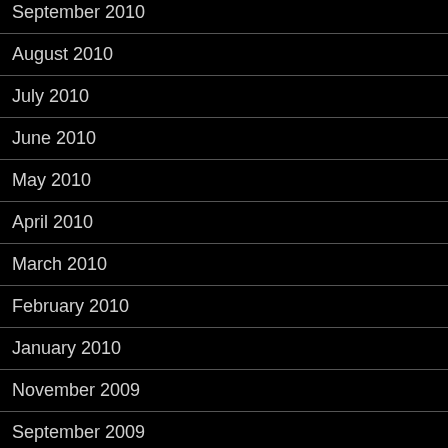September 2010
August 2010
July 2010
June 2010
May 2010
April 2010
March 2010
February 2010
January 2010
November 2009
September 2009